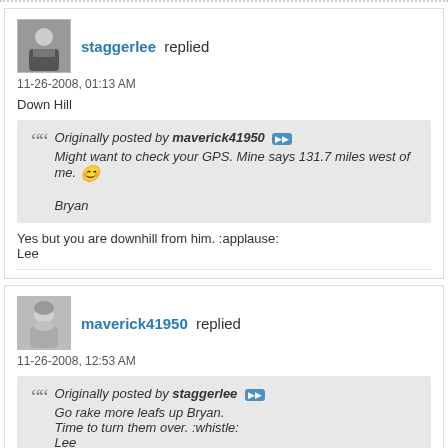staggerlee replied
11-26-2008, 01:13 AM
Down Hill
Originally posted by maverick41950 — Might want to check your GPS. Mine says 131.7 miles west of me. Bryan
Yes but you are downhill from him. :applause:
Lee
maverick41950 replied
11-26-2008, 12:53 AM
Originally posted by staggerlee — Go rake more leafs up Bryan. Time to turn them over. :whistle: Lee